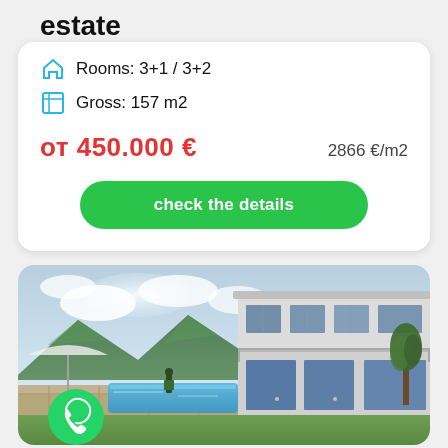estate
Rooms: 3+1 / 3+2
Gross: 157 m2
от 450.000 €   2866 €/m2
check the details
[Figure (photo): Modern villa with swimming pool, mountain backdrop, and landscaped garden]